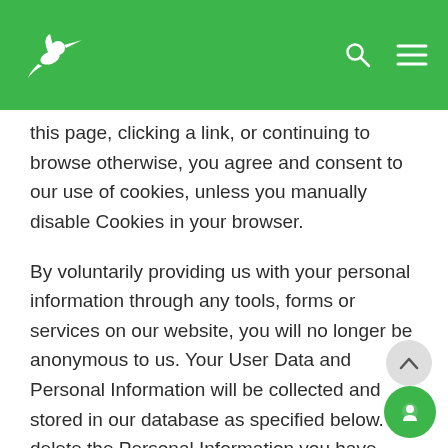Navigation bar with hummingbird logo, search icon, and menu icon
this page, clicking a link, or continuing to browse otherwise, you agree and consent to our use of cookies, unless you manually disable Cookies in your browser.
By voluntarily providing us with your personal information through any tools, forms or services on our website, you will no longer be anonymous to us. Your User Data and Personal Information will be collected and stored in our database as specified below. To delete the Personal Information you have voluntarily shared with us via any form, tool, or service on